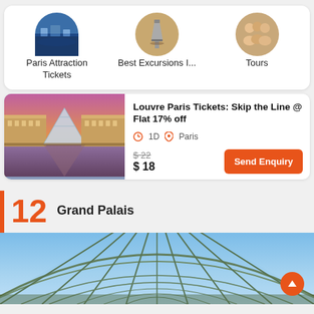[Figure (illustration): Three circular category icons: Paris cityscape, Eiffel Tower excursion, group tour]
Paris Attraction Tickets
Best Excursions I...
Tours
[Figure (photo): Louvre Museum with glass pyramid at dusk, illuminated orange]
Louvre Paris Tickets: Skip the Line @ Flat 17% off
1D  Paris
$ 22
$ 18
Send Enquiry
12  Grand Palais
[Figure (photo): Grand Palais glass dome ceiling interior with ornate iron framework and blue sky]